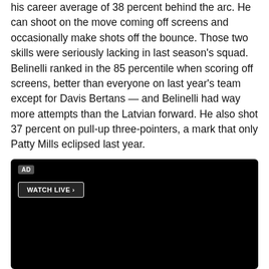his career average of 38 percent behind the arc. He can shoot on the move coming off screens and occasionally make shots off the bounce. Those two skills were seriously lacking in last season's squad. Belinelli ranked in the 85 percentile when scoring off screens, better than everyone on last year's team except for Davis Bertans — and Belinelli had way more attempts than the Latvian forward. He also shot 37 percent on pull-up three-pointers, a mark that only Patty Mills eclipsed last year.
[Figure (other): Black video player advertisement with AD label and WATCH LIVE button]